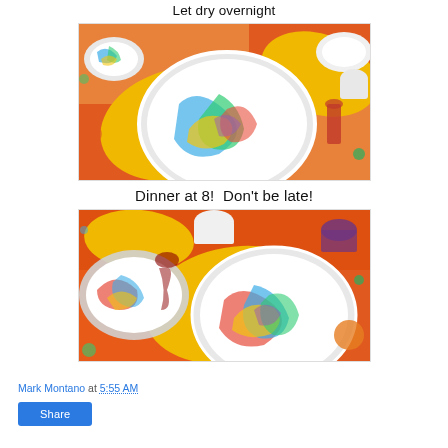Let dry overnight
[Figure (photo): Overhead view of colorful marbled plates and bowls on a table with yellow and red/orange patterned napkins]
Dinner at 8!  Don't be late!
[Figure (photo): Overhead view of colorful marbled plates and glasses on a table with yellow napkins and red/orange patterned tablecloth]
Mark Montano at 5:55 AM
Share